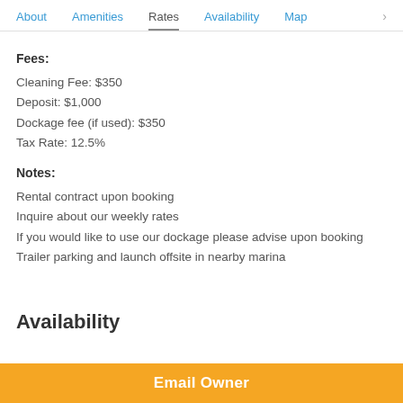About   Amenities   Rates   Availability   Map   >
Fees:
Cleaning Fee: $350
Deposit: $1,000
Dockage fee (if used): $350
Tax Rate: 12.5%
Notes:
Rental contract upon booking
Inquire about our weekly rates
If you would like to use our dockage please advise upon booking
Trailer parking and launch offsite in nearby marina
Availability
Email Owner